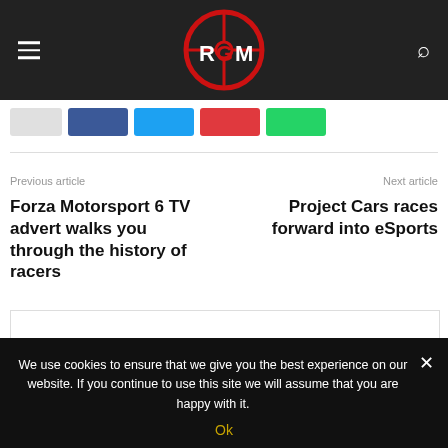RGM header navigation bar with hamburger menu, logo, and search icon
[Figure (logo): RGM logo: red circular target/crosshair with stylized R G M letters in black and red]
Social share buttons row
Previous article
Forza Motorsport 6 TV advert walks you through the history of racers
Next article
Project Cars races forward into eSports
We use cookies to ensure that we give you the best experience on our website. If you continue to use this site we will assume that you are happy with it.
Ok